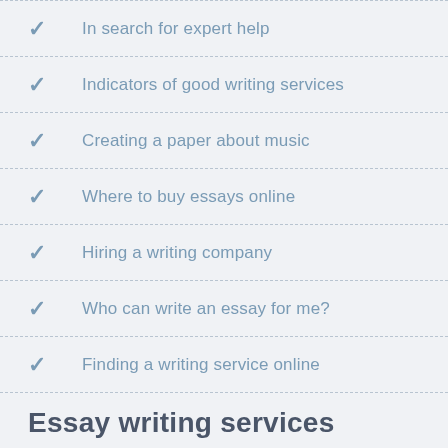In search for expert help
Indicators of good writing services
Creating a paper about music
Where to buy essays online
Hiring a writing company
Who can write an essay for me?
Finding a writing service online
Essay writing services